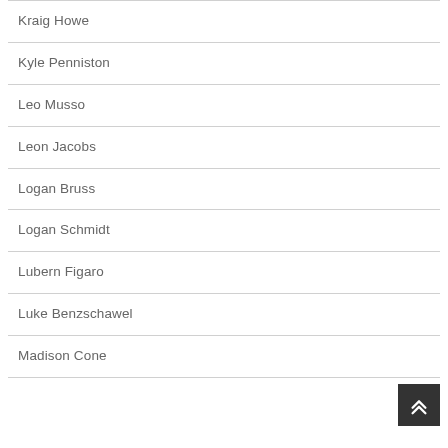Kraig Howe
Kyle Penniston
Leo Musso
Leon Jacobs
Logan Bruss
Logan Schmidt
Lubern Figaro
Luke Benzschawel
Madison Cone